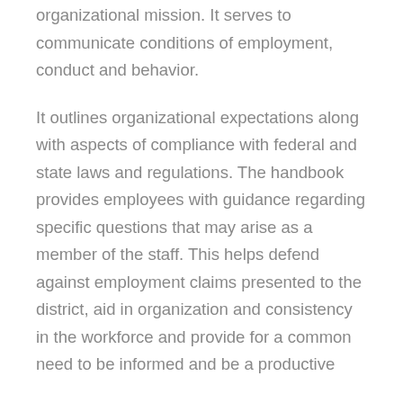organizational mission. It serves to communicate conditions of employment, conduct and behavior.
It outlines organizational expectations along with aspects of compliance with federal and state laws and regulations. The handbook provides employees with guidance regarding specific questions that may arise as a member of the staff. This helps defend against employment claims presented to the district, aid in organization and consistency in the workforce and provide for a common need to be informed and be a productive